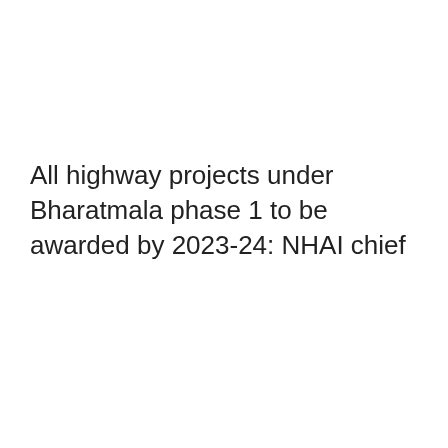All highway projects under Bharatmala phase 1 to be awarded by 2023-24: NHAI chief